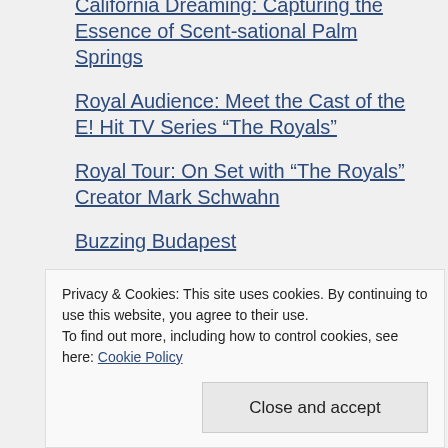California Dreaming: Capturing the Essence of Scent-sational Palm Springs
Royal Audience: Meet the Cast of the E! Hit TV Series “The Royals”
Royal Tour: On Set with “The Royals” Creator Mark Schwahn
Buzzing Budapest
Travelling to the UK
Privacy & Cookies: This site uses cookies. By continuing to use this website, you agree to their use.
To find out more, including how to control cookies, see here: Cookie Policy
Close and accept